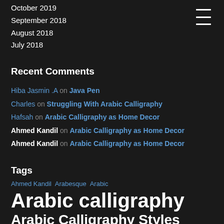October 2019
September 2018
August 2018
July 2018
Recent Comments
Hiba Jasmin .A on Java Pen
Charles on Struggling With Arabic Calligraphy
Hafsah on Arabic Calligraphy as Home Decor
Ahmed Kandil on Arabic Calligraphy as Home Decor
Ahmed Kandil on Arabic Calligraphy as Home Decor
Tags
Ahmed Kandil  Arabesque  Arabic  Arabic calligraphy  Arabic Calligraphy Styles  Arabic language art  Beautiful Calligraphy  Book